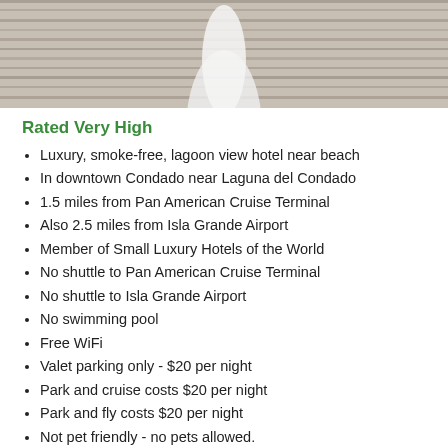[Figure (photo): Photo of a person in white near wooden plank wall background]
Rated Very High
Luxury, smoke-free, lagoon view hotel near beach
In downtown Condado near Laguna del Condado
1.5 miles from Pan American Cruise Terminal
Also 2.5 miles from Isla Grande Airport
Member of Small Luxury Hotels of the World
No shuttle to Pan American Cruise Terminal
No shuttle to Isla Grande Airport
No swimming pool
Free WiFi
Valet parking only - $20 per night
Park and cruise costs $20 per night
Park and fly costs $20 per night
Not pet friendly - no pets allowed.
Most Recent HotelGuides Reviews